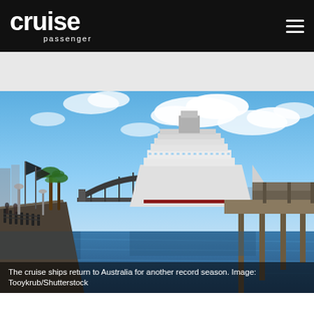cruise passenger
[Figure (photo): A cruise ship docked at a Sydney harbour pier with the Sydney Harbour Bridge in the background, palm trees and flags on the waterfront promenade, blue sky with clouds, and harbour water in the foreground.]
The cruise ships return to Australia for another record season. Image: Tooykrub/Shutterstock